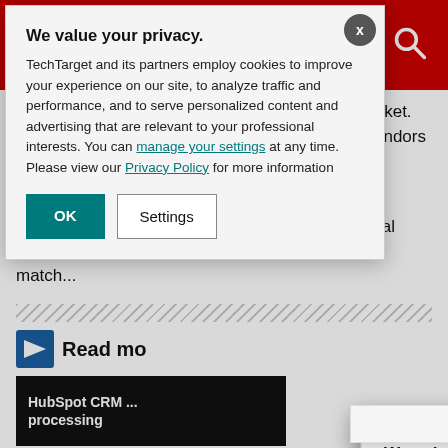ComputerWeekly.com
lack of comprehensive CRM offerings on the market. Ubhey said, "End-users aren't happy because vendors often have the technology but don't get the CRM message across."
A recent report by Ovum suggested that traditional CRM suppliers d... commerce platfo... service to match...
Read mo...
HubSpot CRM ... processing
We value your privacy. TechTarget and its partners employ cookies to improve your experience on our site, to analyze traffic and performance, and to serve personalized content and advertising that are relevant to your professional interests. You can manage your settings at any time. Please view our Privacy Policy for more information